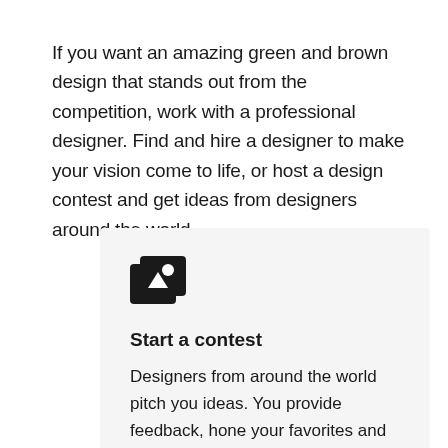If you want an amazing green and brown design that stands out from the competition, work with a professional designer. Find and hire a designer to make your vision come to life, or host a design contest and get ideas from designers around the world.
[Figure (illustration): Design contest icon: stacked cards/images icon in dark/black color]
Start a contest
Designers from around the world pitch you ideas. You provide feedback, hone your favorites and choose a winner.